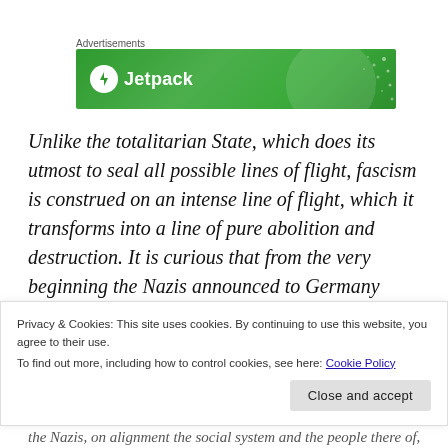[Figure (other): Jetpack advertisement banner with green gradient background and Jetpack logo]
Unlike the totalitarian State, which does its utmost to seal all possible lines of flight, fascism is construed on an intense line of flight, which it transforms into a line of pure abolition and destruction. It is curious that from the very beginning the Nazis announced to Germany what they were bringing: at once
Privacy & Cookies: This site uses cookies. By continuing to use this website, you agree to their use.
To find out more, including how to control cookies, see here: Cookie Policy
Close and accept
the Nazis, on alignment the social system and the people there of,